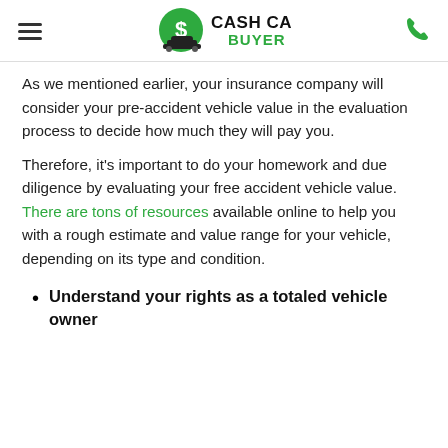Cash Cars Buyer
As we mentioned earlier, your insurance company will consider your pre-accident vehicle value in the evaluation process to decide how much they will pay you.
Therefore, it's important to do your homework and due diligence by evaluating your free accident vehicle value. There are tons of resources available online to help you with a rough estimate and value range for your vehicle, depending on its type and condition.
Understand your rights as a totaled vehicle owner